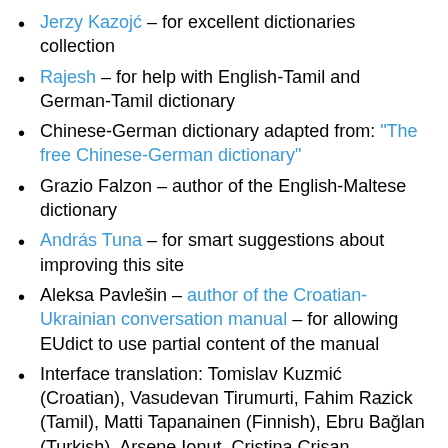Jerzy Kazojć – for excellent dictionaries collection
Rajesh – for help with English-Tamil and German-Tamil dictionary
Chinese-German dictionary adapted from: "The free Chinese-German dictionary"
Grazio Falzon – author of the English-Maltese dictionary
András Tuna – for smart suggestions about improving this site
Aleksa Pavlešin – author of the Croatian-Ukrainian conversation manual – for allowing EUdict to use partial content of the manual
Interface translation: Tomislav Kuzmić (Croatian), Vasudevan Tirumurti, Fahim Razick (Tamil), Matti Tapanainen (Finnish), Ebru Bağlan (Turkish), Arsene Ionuț, Cristina Crisan (Romanian), Daiva Macijauskė (Lithuanian), Tetiana M. (Ukrainian), András Tuna (Hungarian), Jakob Lautrup Nysom (Danish), Andre Abdullin, Elena Zvaritch (Russian), Catherine